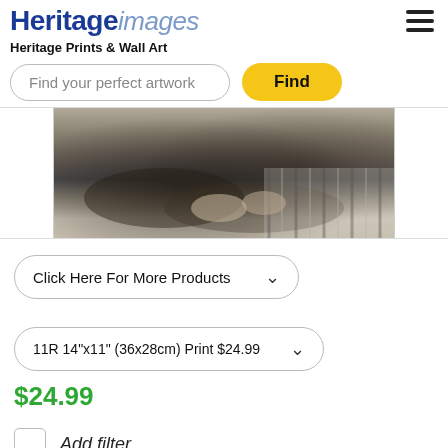Heritage images
Heritage Prints & Wall Art
Find your perfect artwork
Find
[Figure (photo): Black and white photograph showing the torso and hands of a person, partially cropped]
Click Here For More Products
11R 14"x11" (36x28cm) Print $24.99
$24.99
Add filter
Zoom In (crop image)